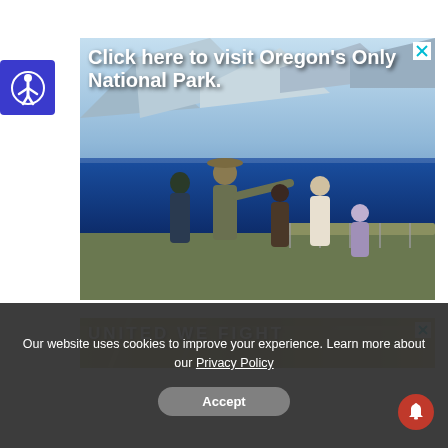[Figure (photo): Advertisement banner with a photo of Crater Lake in Oregon. A park ranger in a hat points toward the lake while standing with a group of visitors on a viewing platform. Text overlay reads 'Click here to visit Oregon's Only National Park.' with a close (X) button in top-right corner.]
[Figure (photo): Second advertisement banner with a textured golden-green background. Partial text visible: 'UNITED WE FIGHT' in large white bold letters. Close (X) button in top-right corner.]
Our website uses cookies to improve your experience. Learn more about our Privacy Policy
Accept